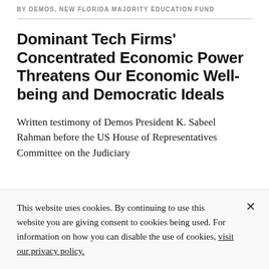BY DEMOS, NEW FLORIDA MAJORITY EDUCATION FUND
Dominant Tech Firms' Concentrated Economic Power Threatens Our Economic Well-being and Democratic Ideals
Written testimony of Demos President K. Sabeel Rahman before the US House of Representatives Committee on the Judiciary
This website uses cookies. By continuing to use this website you are giving consent to cookies being used. For information on how you can disable the use of cookies, visit our privacy policy.